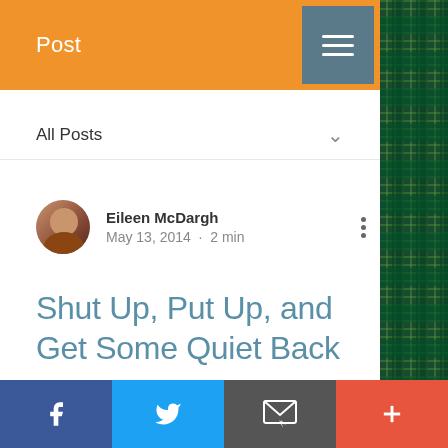Post
All Posts
Eileen McDargh
May 13, 2014  ·  2 min
Shut Up, Put Up, and Get Some Quiet Back
[Figure (photo): Blurred article header image, dark tones]
Facebook | Twitter | Email | More